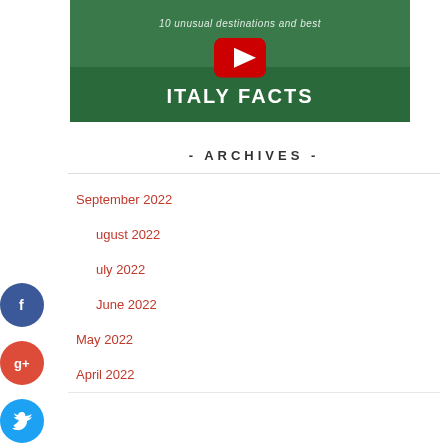[Figure (screenshot): YouTube video thumbnail showing Italy Facts content with green background and YouTube play button]
- ARCHIVES -
September 2022
August 2022
July 2022
June 2022
May 2022
April 2022